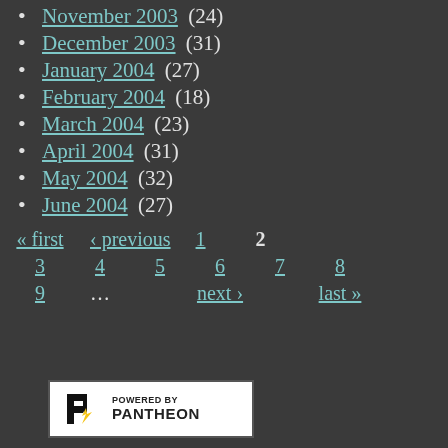November 2003 (24)
December 2003 (31)
January 2004 (27)
February 2004 (18)
March 2004 (23)
April 2004 (31)
May 2004 (32)
June 2004 (27)
« first  ‹ previous  1  2  3  4  5  6  7  8  9  ...  next ›  last »